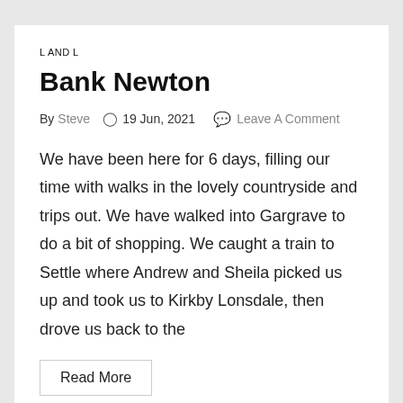L AND L
Bank Newton
By Steve ○ 19 Jun, 2021 💬 Leave A Comment
We have been here for 6 days, filling our time with walks in the lovely countryside and trips out. We have walked into Gargrave to do a bit of shopping. We caught a train to Settle where Andrew and Sheila picked us up and took us to Kirkby Lonsdale, then drove us back to the
Read More